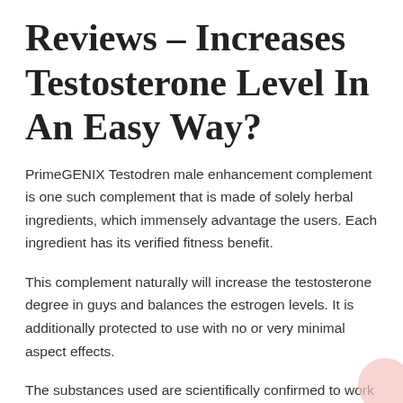Reviews – Increases Testosterone Level In An Easy Way?
PrimeGENIX Testodren male enhancement complement is one such complement that is made of solely herbal ingredients, which immensely advantage the users. Each ingredient has its verified fitness benefit.
This complement naturally will increase the testosterone degree in guys and balances the estrogen levels. It is additionally protected to use with no or very minimal aspect effects.
The substances used are scientifically confirmed to work